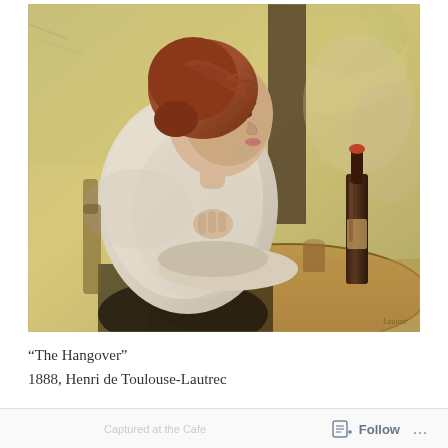[Figure (illustration): Painting 'The Hangover' by Henri de Toulouse-Lautrec, 1888. A woman with reddish-brown hair sits slumped at a cafe table, resting her chin on her hand. A dark wine bottle and a glass stand on the round table beside her. The palette is warm ochres, yellows, and muted purples with expressive brushwork.]
“The Hangover”
1888, Henri de Toulouse-Lautrec
Captured at the Cafe   Follow  ...